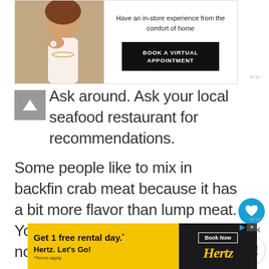[Figure (illustration): Advertisement banner: woman wearing jewelry ring with text 'Have an in-store experience from the comfort of home' and a 'BOOK A VIRTUAL APPOINTMENT' button]
Ask around. Ask your local seafood restaurant for recommendations.
Some people like to mix in backfin crab meat because it has a bit more flavor than lump meat. You can do this if you like! It's just not how my family does things.
[Figure (illustration): Bottom advertisement: 'Get 1 free rental day.* Hertz. Let's Go!' with Book Now button and Hertz logo on yellow background]